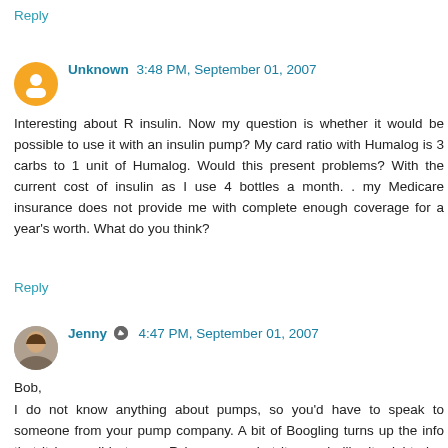Reply
Unknown  3:48 PM, September 01, 2007
Interesting about R insulin. Now my question is whether it would be possible to use it with an insulin pump? My card ratio with Humalog is 3 carbs to 1 unit of Humalog. Would this present problems? With the current cost of insulin as I use 4 bottles a month. . my Medicare insurance does not provide me with complete enough coverage for a year's worth. What do you think?
Reply
Jenny  4:47 PM, September 01, 2007
Bob,
I do not know anything about pumps, so you'd have to speak to someone from your pump company. A bit of Boogling turns up the info that it is possible to use R in a pump, but it sounds like it might clog more than the